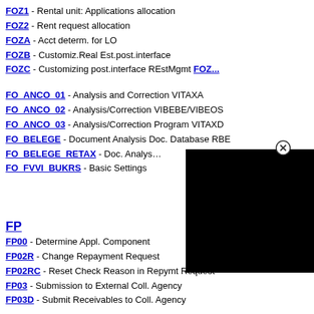FOZ1 - Rental unit: Applications allocation
FOZ2 - Rent request allocation
FOZA - Acct determ. for LO
FOZB - Customiz.Real Est.post.interface
FOZC - Customizing post.interface REstMgmt FOZ...
FO_ANCO_01 - Analysis and Correction VITAXA
FO_ANCO_02 - Analysis/Correction VIBEBE/VIBEOS
FO_ANCO_03 - Analysis/Correction Program VITAXD
FO_BELEGE - Document Analysis Doc. Database RBE
FO_BELEGE_RETAX - Doc. Analys...
FO_FVVI_BUKRS - Basic Settings
FP
FP00 - Determine Appl. Component
FP02R - Change Repayment Request
FP02RC - Reset Check Reason in Repymt Request
FP03 - Submission to External Coll. Agency
FP03D - Submit Receivables to Coll. Agency